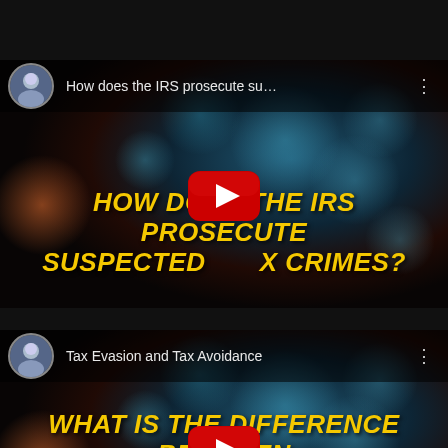[Figure (screenshot): YouTube video thumbnail and card for 'How does the IRS prosecute su...' showing bold italic yellow text 'HOW DOES THE IRS PROSECUTE SUSPECTED TAX CRIMES?' on a dark bokeh background with a red YouTube play button]
How does the IRS prosecute su…
HOW DOES THE IRS PROSECUTE SUSPECTED TAX CRIMES?
[Figure (screenshot): YouTube video thumbnail and card for 'Tax Evasion and Tax Avoidance' showing bold italic yellow text 'WHAT IS THE DIFFERENCE BETWEEN TAX EVASION AND TAX AVOIDANCE?' on a dark bokeh background with a red YouTube play button]
Tax Evasion and Tax Avoidance
WHAT IS THE DIFFERENCE BETWEEN TAX EVASION AND TAX AVOIDANCE?